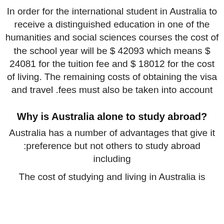In order for the international student in Australia to receive a distinguished education in one of the humanities and social sciences courses the cost of the school year will be $ 42093 which means $ 24081 for the tuition fee and $ 18012 for the cost of living. The remaining costs of obtaining the visa and travel fees must also be taken into account.
?Why is Australia alone to study abroad
Australia has a number of advantages that give it preference but not others to study abroad including:
The cost of studying and living in Australia is